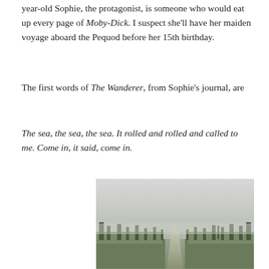year-old Sophie, the protagonist, is someone who would eat up every page of Moby-Dick. I suspect she'll have her maiden voyage aboard the Pequod before her 15th birthday.
The first words of The Wanderer, from Sophie's journal, are
The sea, the sea, the sea. It rolled and rolled and called to me. Come in, it said, come in.
[Figure (photo): A misty, foggy landscape showing a narrow dirt path through dense low shrubs and dark coniferous trees on either side, with a grey overcast sky blending into the fog in the distance.]